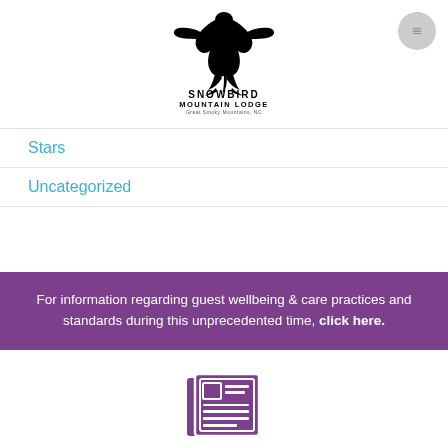[Figure (logo): Snowbird Mountain Lodge logo with eagle/hawk bird silhouette and text 'SNOWBIRD MOUNTAIN LODGE' below]
[Figure (other): Hamburger/menu button icon - circular gray button with three horizontal lines]
Stars
Uncategorized
For information regarding guest wellbeing & care practices and standards during this unprecedented time, click here.
[Figure (other): Newspaper/news icon - purple square with article lines illustration]